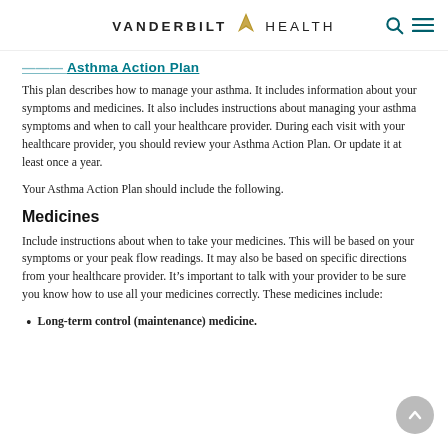VANDERBILT HEALTH
Asthma Action Plan (partial/cropped)
This plan describes how to manage your asthma. It includes information about your symptoms and medicines. It also includes instructions about managing your asthma symptoms and when to call your healthcare provider. During each visit with your healthcare provider, you should review your Asthma Action Plan. Or update it at least once a year.
Your Asthma Action Plan should include the following.
Medicines
Include instructions about when to take your medicines. This will be based on your symptoms or your peak flow readings. It may also be based on specific directions from your healthcare provider. It's important to talk with your provider to be sure you know how to use all your medicines correctly. These medicines include:
Long-term control (maintenance) medicine.